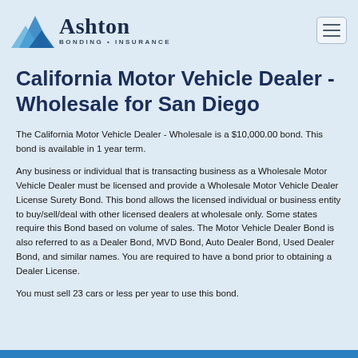Ashton BONDING • INSURANCE
California Motor Vehicle Dealer - Wholesale for San Diego
The California Motor Vehicle Dealer - Wholesale is a $10,000.00 bond. This bond is available in 1 year term.
Any business or individual that is transacting business as a Wholesale Motor Vehicle Dealer must be licensed and provide a Wholesale Motor Vehicle Dealer License Surety Bond. This bond allows the licensed individual or business entity to buy/sell/deal with other licensed dealers at wholesale only. Some states require this Bond based on volume of sales. The Motor Vehicle Dealer Bond is also referred to as a Dealer Bond, MVD Bond, Auto Dealer Bond, Used Dealer Bond, and similar names. You are required to have a bond prior to obtaining a Dealer License.
You must sell 23 cars or less per year to use this bond.